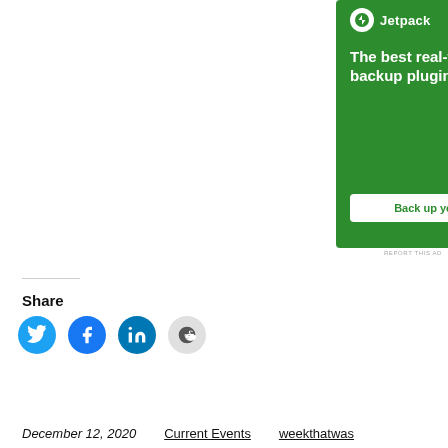[Figure (illustration): Jetpack advertisement banner with green background. Shows Jetpack logo (lightning bolt in white circle) and text 'Jetpack' at top left. Large white bold text reads 'The best real-time WordPress backup plugin'. White rounded button with green text 'Back up your site'. Decorative light-green circles in background.]
REPORT THIS AD
Share
[Figure (infographic): Row of four social media share buttons as filled circles: Twitter (blue), Facebook (blue), LinkedIn (blue), Reddit (light gray).]
December 12, 2020   Current Events   weekthatwas